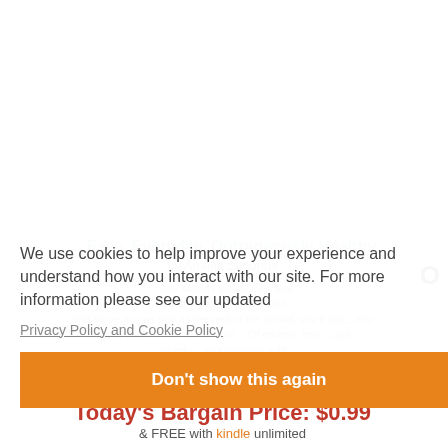[Figure (illustration): Book icon/placeholder image on a gray background — a stylized open book with pages fanning out, rendered in light gray tones]
We use cookies to help improve your experience and understand how you interact with our site. For more information please see our updated
Privacy Policy and Cookie Policy
Don't show this again
Today's Bargain Price: $0.99
& FREE with Kindle Unlimited